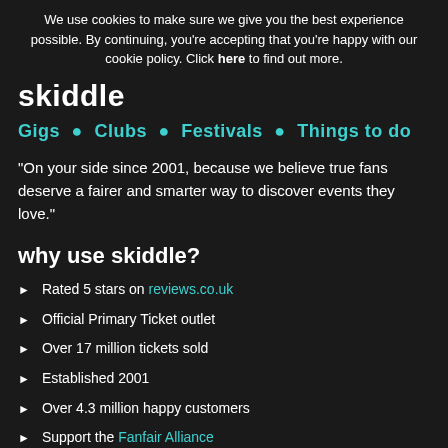We use cookies to make sure we give you the best experience possible. By continuing, you're accepting that you're happy with our cookie policy. Click here to find out more.
skiddle
Gigs • Clubs • Festivals • Things to do
“On your side since 2001, because we believe true fans deserve a fairer and smarter way to discover events they love.”
why use skiddle?
Rated 5 stars on reviews.co.uk
Official Primary Ticket outlet
Over 17 million tickets sold
Established 2001
Over 4.3 million happy customers
Support the Fanfair Alliance